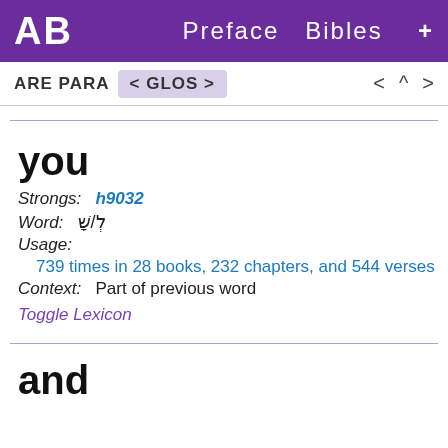AB   Preface  Bibles  +
ARE PARA  < GLOS >   < ^ >
you
Strongs: h9032
Word: לְ/שׁ
Usage:
739 times in 28 books, 232 chapters, and 544 verses
Context:   Part of previous word
Toggle Lexicon
and